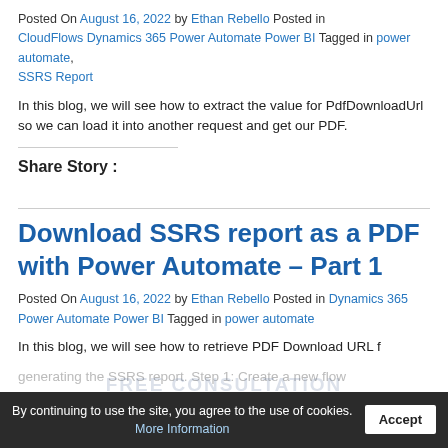Posted On August 16, 2022 by Ethan Rebello Posted in CloudFlows Dynamics 365 Power Automate Power BI Tagged in power automate, SSRS Report
In this blog, we will see how to extract the value for PdfDownloadUrl so we can load it into another request and get our PDF.
Share Story :
Download SSRS report as a PDF with Power Automate – Part 1
Posted On August 16, 2022 by Ethan Rebello Posted in Dynamics 365 Power Automate Power BI Tagged in power automate
In this blog, we will see how to retrieve PDF Download URL by generating the SSRS report. Step 1: Create a new flow
By continuing to use the site, you agree to the use of cookies. More Information